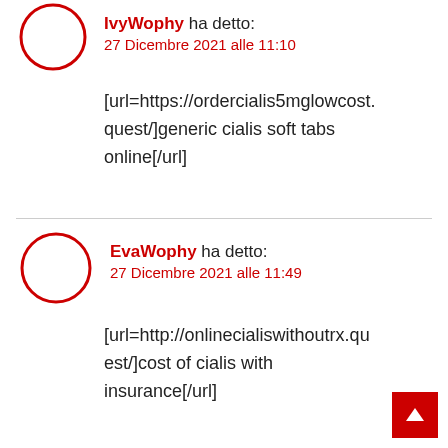IvyWophy ha detto:
27 Dicembre 2021 alle 11:10
[url=https://ordercialis5mglowcost.quest/]generic cialis soft tabs online[/url]
EvaWophy ha detto:
27 Dicembre 2021 alle 11:49
[url=http://onlinecialiswithoutrx.quest/]cost of cialis with insurance[/url]